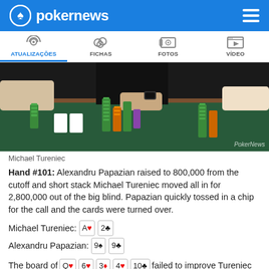pokernews
[Figure (screenshot): Navigation bar with four tabs: ATUALIZAÇÕES (active, with radio signal icon), FICHAS (with chip/ball icon), FOTOS (with image icon), VÍDEO (with play button icon)]
[Figure (photo): Poker table with green felt, multiple stacks of poker chips (green, orange, pink), and players' hands reaching over the table. PokerNews watermark in bottom right.]
Michael Tureniec
Hand #101: Alexandru Papazian raised to 800,000 from the cutoff and short stack Michael Tureniec moved all in for 2,800,000 out of the big blind. Papazian quickly tossed in a chip for the call and the cards were turned over.
Michael Tureniec: A♥ 2♣
Alexandru Papazian: 9♠ 9♣
The board of Q♥ 6♥ 3♦ 4♥ 10♣ failed to improve Tureniec